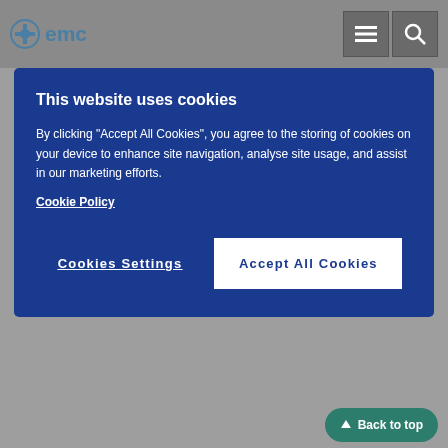[Figure (logo): EMC logo with cross/plus icon and text 'emc']
[Figure (screenshot): Cookie consent modal with dark blue background, title 'This website uses cookies', body text about cookie policy, Cookie Policy link, Cookies Settings button, and Accept All Cookies button]
subsequent years. The incidence remains within the background rate expected for an MS population.
Treatment of severely immunocompromised patients
Patients in a severely immunocompromised state must not be treated until the condition resolves (see section 4.3).
In other auto-immune conditions, use of Ocrevus concomitantly with immunosuppressive medications (e.g. chronic corticosteroids, non-biologic and biologic disease-modifying antirheumatic drugs [DMARDS], mycophenolate mofetil, cyclophosphamide, azathioprine) resulted in an increase of serious infections, including opportunistic infect... included and were not limited to atypical pneumonia and pneumocystis